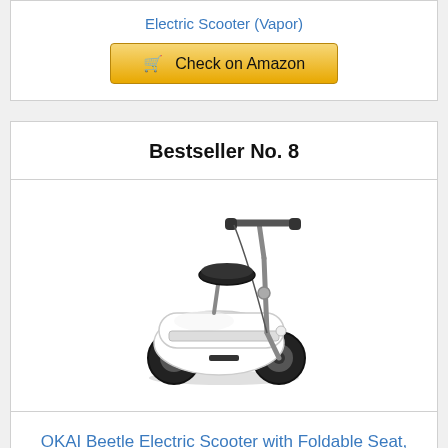Electric Scooter (Vapor)
Check on Amazon
Bestseller No. 8
[Figure (photo): OKAI Beetle Electric Scooter - white electric scooter with foldable seat, black tires, handlebar]
OKAI Beetle Electric Scooter with Foldable Seat, 25 Miles Range & 15.5MPH, 10" Vacuum Tires,...
Check on Amazon